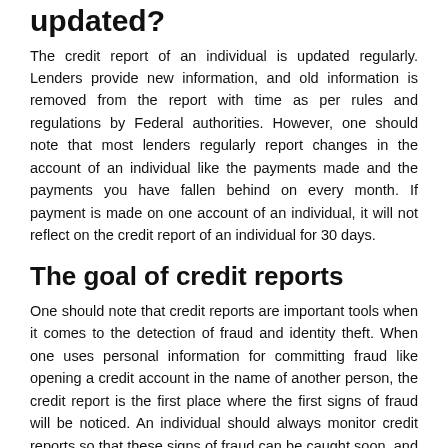updated?
The credit report of an individual is updated regularly. Lenders provide new information, and old information is removed from the report with time as per rules and regulations by Federal authorities. However, one should note that most lenders regularly report changes in the account of an individual like the payments made and the payments you have fallen behind on every month. If payment is made on one account of an individual, it will not reflect on the credit report of an individual for 30 days.
The goal of credit reports
One should note that credit reports are important tools when it comes to the detection of fraud and identity theft. When one uses personal information for committing fraud like opening a credit account in the name of another person, the credit report is the first place where the first signs of fraud will be noticed. An individual should always monitor credit reports so that these signs of fraud can be caught soon, and action can be taken to arrest the